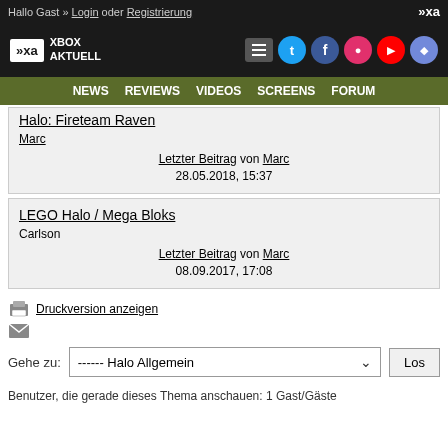Hallo Gast » Login oder Registrierung
[Figure (logo): Xbox Aktuell logo with XA icon and social media buttons]
NEWS  REVIEWS  VIDEOS  SCREENS  FORUM
Halo: Fireteam Raven
Marc
Letzter Beitrag von Marc
28.05.2018, 15:37
LEGO Halo / Mega Bloks
Carlson
Letzter Beitrag von Marc
08.09.2017, 17:08
Druckversion anzeigen
Gehe zu: ------ Halo Allgemein  Los
Benutzer, die gerade dieses Thema anschauen: 1 Gast/Gäste